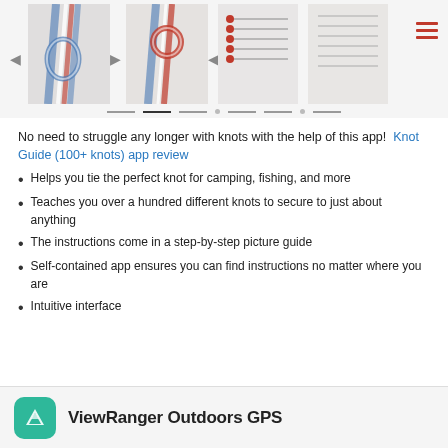[Figure (screenshot): App screenshot strip showing knot images and navigation dots]
No need to struggle any longer with knots with the help of this app!  Knot Guide (100+ knots) app review
Helps you tie the perfect knot for camping, fishing, and more
Teaches you over a hundred different knots to secure to just about anything
The instructions come in a step-by-step picture guide
Self-contained app ensures you can find instructions no matter where you are
Intuitive interface
[Figure (logo): ViewRanger Outdoors GPS logo — teal rounded square with mountain/arrow icon]
ViewRanger Outdoors GPS